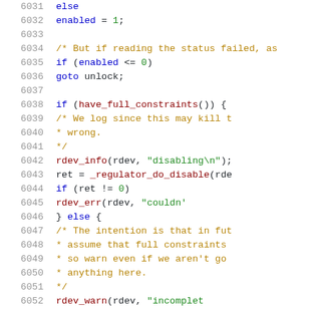Source code listing, lines 6031-6052, C kernel code with syntax highlighting. Lines show regulator enable/disable logic.